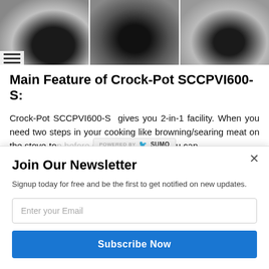[Figure (photo): Three images of Crock-Pot SCCPVI600-S slow cooker: left shows silver crockpot with person in red, center shows open crockpot with food inside on stove, right shows silver crockpot with food inside.]
Main Feature of Crock-Pot SCCPVI600-S:
Crock-Pot SCCPVI600-S gives you 2-in-1 facility. When you need two steps in your cooking like browning/searing meat on the stove-top before slow cooking then you can
Join Our Newsletter
Signup today for free and be the first to get notified on new updates.
Enter your Email
Subscribe Now